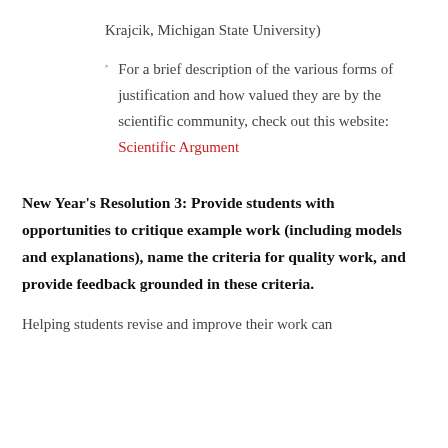Krajcik, Michigan State University)
For a brief description of the various forms of justification and how valued they are by the scientific community, check out this website: Scientific Argument
New Year's Resolution 3: Provide students with opportunities to critique example work (including models and explanations), name the criteria for quality work, and provide feedback grounded in these criteria.
Helping students revise and improve their work can